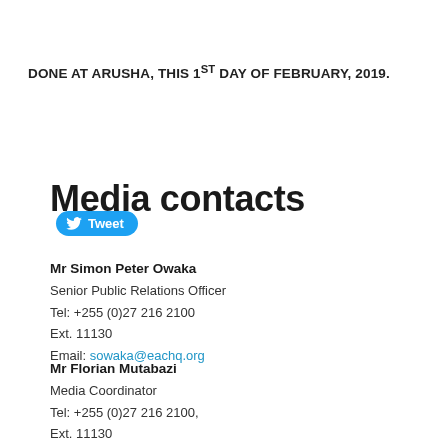DONE AT ARUSHA, THIS 1ST DAY OF FEBRUARY, 2019.
[Figure (other): Tweet button with Twitter bird icon]
Media contacts
Mr Simon Peter Owaka
Senior Public Relations Officer
Tel: +255 (0)27 216 2100
Ext. 11130
Email: sowaka@eachq.org
Mr Florian Mutabazi
Media Coordinator
Tel: +255 (0)27 216 2100,
Ext. 11130
Email: FMutabazi@eachq.org, or